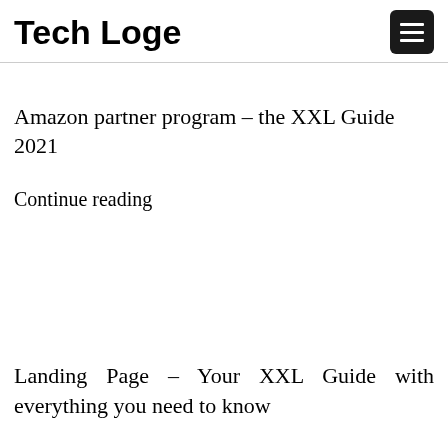Tech Loge
Amazon partner program – the XXL Guide 2021
Continue reading
Landing Page – Your XXL Guide with everything you need to know